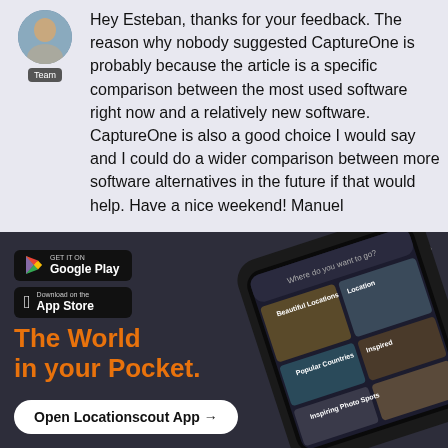[Figure (screenshot): User avatar photo of a person, with a 'Team' badge below]
Hey Esteban, thanks for your feedback. The reason why nobody suggested CaptureOne is probably because the article is a specific comparison between the most used software right now and a relatively new software. CaptureOne is also a good choice I would say and I could do a wider comparison between more software alternatives in the future if that would help. Have a nice weekend! Manuel
[Figure (screenshot): Advertisement banner with dark background showing a smartphone with a travel app (Locationscout). Includes Google Play and App Store download buttons, the tagline 'The World in your Pocket.' in orange, and a CTA button 'Open Locationscout App →'. A close X button is in the top right.]